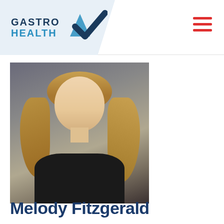GASTRO HEALTH
[Figure (photo): Professional headshot of Melody Fitzgerald, a woman with blonde wavy hair wearing a black top, photographed against a gray background.]
Melody Fitzgerald